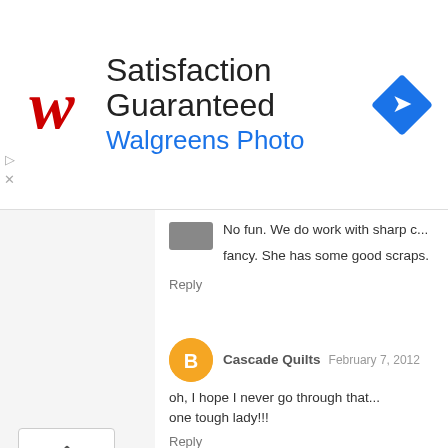[Figure (infographic): Walgreens Photo advertisement banner with red cursive W logo, text 'Satisfaction Guaranteed' and 'Walgreens Photo', and a blue diamond-shaped navigation icon on the right]
No fun. We do work with sharp c... fancy. She has some good scraps.
Reply
Cascade Quilts  February 7, 2012
oh, I hope I never go through that... one tough lady!!!
Reply
Melissa Corry  February 7, 2012
Oh my goodness Natalia!!! I thin... your own finger!!!
And this quilting is so beautiful. ... the sincerest form of flattery right...